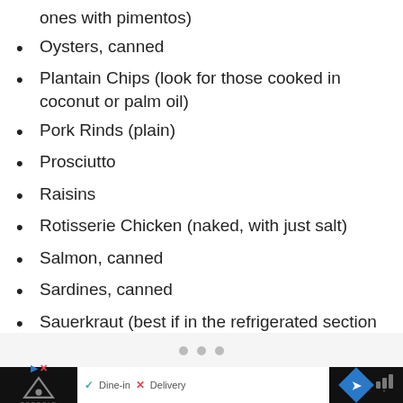ones with pimentos)
Oysters, canned
Plantain Chips (look for those cooked in coconut or palm oil)
Pork Rinds (plain)
Prosciutto
Raisins
Rotisserie Chicken (naked, with just salt)
Salmon, canned
Sardines, canned
Sauerkraut (best if in the refrigerated section as this will be probiotic)